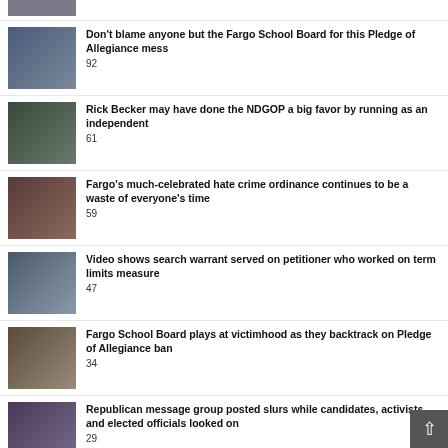[Figure (photo): Partial thumbnail image at top of page]
Don't blame anyone but the Fargo School Board for this Pledge of Allegiance mess
92
Rick Becker may have done the NDGOP a big favor by running as an independent
61
Fargo's much-celebrated hate crime ordinance continues to be a waste of everyone's time
59
Video shows search warrant served on petitioner who worked on term limits measure
47
Fargo School Board plays at victimhood as they backtrack on Pledge of Allegiance ban
34
Republican message group posted slurs while candidates, activists, and elected officials looked on
29